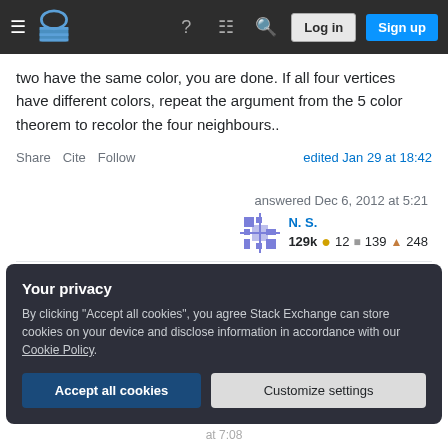Stack Exchange navigation bar with Log in and Sign up buttons
two have the same color, you are done. If all four vertices have different colors, repeat the argument from the 5 color theorem to recolor the four neighbours..
Share  Cite  Follow    edited Jan 29 at 18:42
answered Dec 6, 2012 at 5:21
N. S.
129k  12  139  248
Your privacy
By clicking "Accept all cookies", you agree Stack Exchange can store cookies on your device and disclose information in accordance with our Cookie Policy.
Accept all cookies   Customize settings
at 7:08